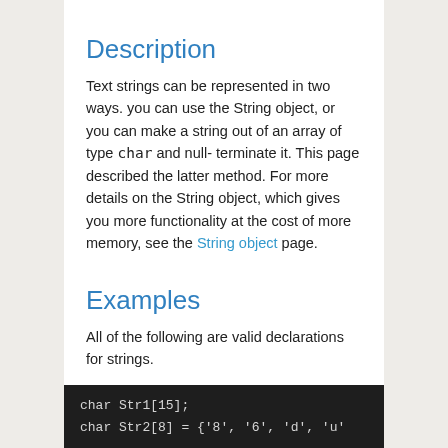Description
Text strings can be represented in two ways. you can use the String object, or you can make a string out of an array of type char and null-terminate it. This page described the latter method. For more details on the String object, which gives you more functionality at the cost of more memory, see the String object page.
Examples
All of the following are valid declarations for strings.
[Figure (screenshot): Dark code block showing C-style string declarations: char Str1[15]; and char Str2[8] = {'8', '6', 'd', 'u' ...]